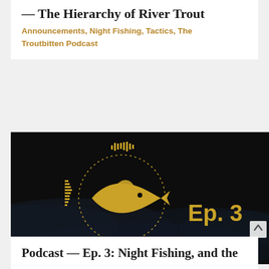— The Hierarchy of River Trout
Announcements, Night Fishing, Tactics, The Troutbitten Podcast
[Figure (illustration): Dark moody podcast cover image with a golden fish silhouette in a circular dotted/audio-waveform badge. Text 'Ep. 3' in gold on the right side. Dark water background.]
Podcast — Ep. 3: Night Fishing, and the